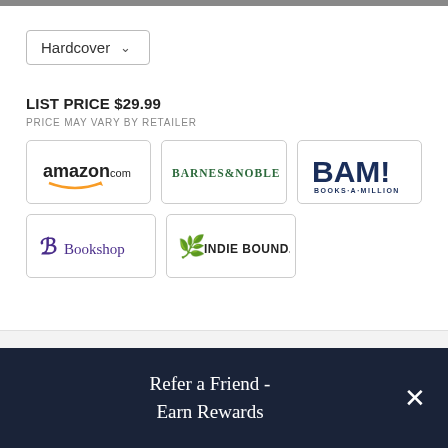Hardcover
LIST PRICE $29.99
PRICE MAY VARY BY RETAILER
[Figure (logo): amazon.com retailer logo button]
[Figure (logo): Barnes & Noble retailer logo button]
[Figure (logo): BAM! Books-A-Million retailer logo button]
[Figure (logo): Bookshop retailer logo button]
[Figure (logo): IndieBound retailer logo button]
About The Book
Food, water, and shelter are very important to
Refer a Friend - Earn Rewards